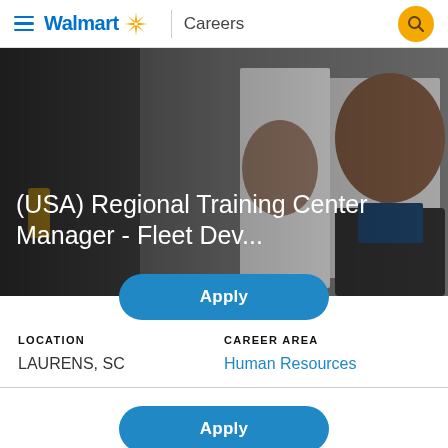Walmart Careers
[Figure (photo): Two men near elevator, man in foreground smiling, wearing dark jacket]
(USA) Regional Training Center Manager - Fleet Dev...
Apply
LOCATION
LAURENS, SC
CAREER AREA
Human Resources
Apply